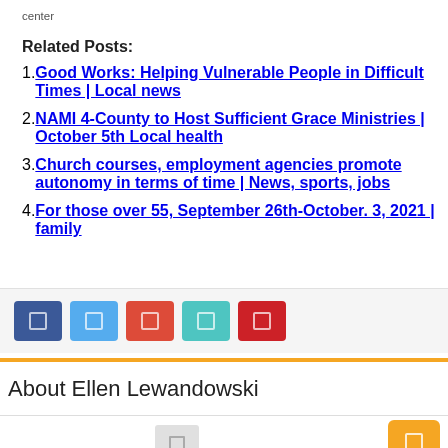center
Related Posts:
Good Works: Helping Vulnerable People in Difficult Times | Local news
NAMI 4-County to Host Sufficient Grace Ministries | October 5th Local health
Church courses, employment agencies promote autonomy in terms of time | News, sports, jobs
For those over 55, September 26th-October. 3, 2021 | family
[Figure (other): Social share buttons: Facebook, Twitter, Google+, LinkedIn, Pinterest]
About Ellen Lewandowski
[Figure (other): Author profile area with avatar placeholder and orange button icon]